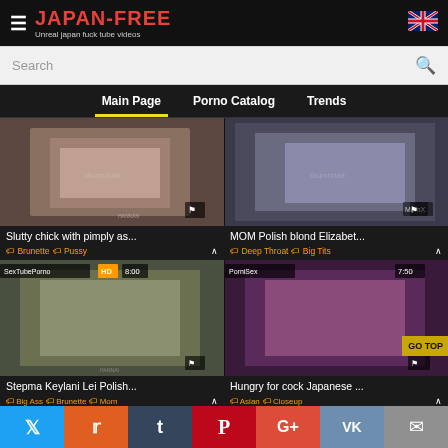JAPAN-FREE — Unreal japan fuck tube videos
Search
Main Page | Porno Catalog | Trends
[Figure (screenshot): Video thumbnail 1: Slutty chick with pimply as...]
Slutty chick with pimply as...
Brunette | Pussy
[Figure (screenshot): Video thumbnail 2: MOM Polish blond Elizabet...]
MOM Polish blond Elizabet...
Deep Throat | Big Tits
[Figure (screenshot): Video thumbnail 3: Stepma Keylani Lei Polish... — SexTubePorno HD 8:00]
Stepma Keylani Lei Polish...
Big Ass | Brunette | Mom
[Figure (screenshot): Video thumbnail 4: Hungry for cock Japanese ... — PorniSex 7:50]
Hungry for cock Japanese ...
Asian | Closeup
Social share bar: Twitter, Reddit, Tumblr, Pinterest, G+, VK, Email